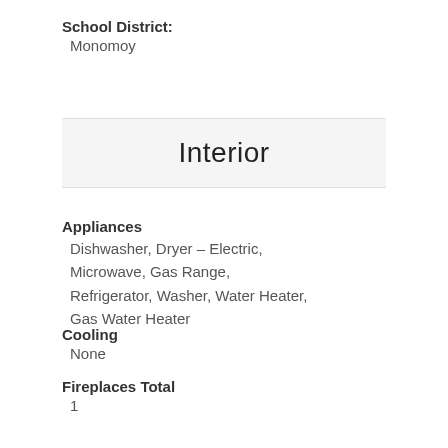School District: Monomoy
Interior
Appliances
Dishwasher, Dryer – Electric, Microwave, Gas Range, Refrigerator, Washer, Water Heater, Gas Water Heater
Cooling
None
Fireplaces Total
1
Flooring
Carpet, Hardwood, Vinyl
Heating